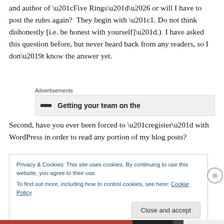and author of “Five Rings”… or will I have to post the rules again?  They begin with “1. Do not think dishonestly [i.e. be honest with yourself]”.)  I have asked this question before, but never heard back from any readers, so I don’t know the answer yet.
Advertisements
[Figure (other): Advertisement banner showing text 'Getting your team on the']
Second, have you ever been forced to “register” with WordPress in order to read any portion of my blog posts?
Privacy & Cookies: This site uses cookies. By continuing to use this website, you agree to their use.
To find out more, including how to control cookies, see here: Cookie Policy

Close and accept